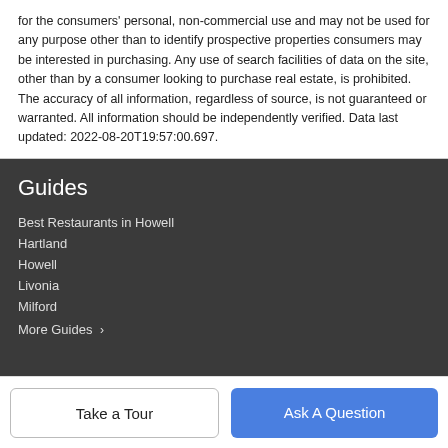for the consumers' personal, non-commercial use and may not be used for any purpose other than to identify prospective properties consumers may be interested in purchasing. Any use of search facilities of data on the site, other than by a consumer looking to purchase real estate, is prohibited. The accuracy of all information, regardless of source, is not guaranteed or warranted. All information should be independently verified. Data last updated: 2022-08-20T19:57:00.697.
Guides
Best Restaurants in Howell
Hartland
Howell
Livonia
Milford
More Guides >